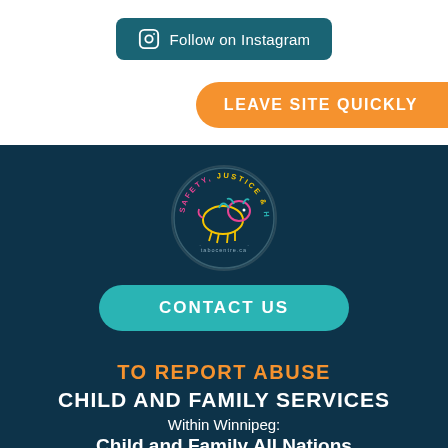[Figure (other): Follow on Instagram button with Instagram icon, dark teal rounded rectangle]
LEAVE SITE QUICKLY
[Figure (logo): Safety, Justice & Healing circular logo with bison illustration, tabocentre.ca]
CONTACT US
TO REPORT ABUSE
CHILD AND FAMILY SERVICES
Within Winnipeg:
Child and Family All Nations